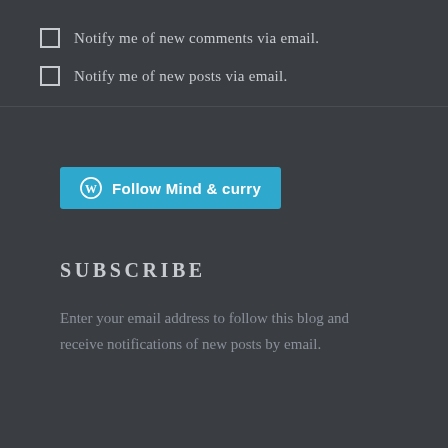Notify me of new comments via email.
Notify me of new posts via email.
[Figure (other): WordPress Follow button with W logo and text 'Follow Mind & curry' on a teal/blue background]
SUBSCRIBE
Enter your email address to follow this blog and receive notifications of new posts by email.